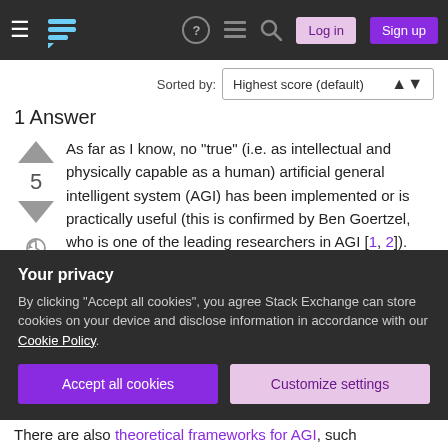Stack Exchange navigation bar with hamburger menu, logo, help, chat, search icons, Log in and Sign up buttons
Sorted by: Highest score (default)
1 Answer
As far as I know, no "true" (i.e. as intellectual and physically capable as a human) artificial general intelligent system (AGI) has been implemented or is practically useful (this is confirmed by Ben Goertzel, who is one of the leading researchers in AGI [1, 2]).
The closest to a practical AGI might be Sophia (or similar robots), which may look like an AGI, but it
Your privacy
By clicking "Accept all cookies", you agree Stack Exchange can store cookies on your device and disclose information in accordance with our Cookie Policy.
Accept all cookies  Customize settings
There are also theoretical frameworks for AGI, such